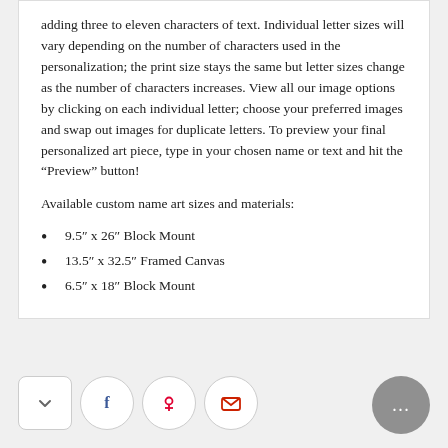adding three to eleven characters of text. Individual letter sizes will vary depending on the number of characters used in the personalization; the print size stays the same but letter sizes change as the number of characters increases. View all our image options by clicking on each individual letter; choose your preferred images and swap out images for duplicate letters. To preview your final personalized art piece, type in your chosen name or text and hit the “Preview” button!
Available custom name art sizes and materials:
9.5″ x 26″ Block Mount
13.5″ x 32.5″ Framed Canvas
6.5″ x 18″ Block Mount